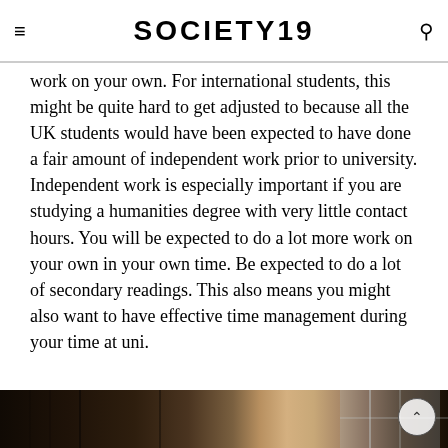SOCIETY19
work on your own. For international students, this might be quite hard to get adjusted to because all the UK students would have been expected to have done a fair amount of independent work prior to university. Independent work is especially important if you are studying a humanities degree with very little contact hours. You will be expected to do a lot more work on your own in your own time. Be expected to do a lot of secondary readings. This also means you might also want to have effective time management during your time at uni.
[Figure (photo): Interior photo of what appears to be a library or study space with bookshelves and a window letting in light, dark atmospheric tones]